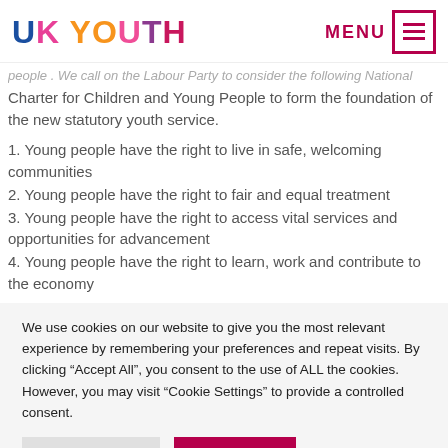UK YOUTH | MENU
people . We call on the Labour Party to consider the following National Charter for Children and Young People to form the foundation of the new statutory youth service.
1. Young people have the right to live in safe, welcoming communities
2. Young people have the right to fair and equal treatment
3. Young people have the right to access vital services and opportunities for advancement
4. Young people have the right to learn, work and contribute to the economy
We use cookies on our website to give you the most relevant experience by remembering your preferences and repeat visits. By clicking "Accept All", you consent to the use of ALL the cookies. However, you may visit "Cookie Settings" to provide a controlled consent.